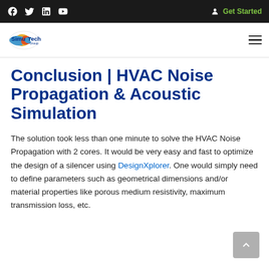SimuTech Group — navigation bar with social icons and Get Started link
Conclusion | HVAC Noise Propagation & Acoustic Simulation
The solution took less than one minute to solve the HVAC Noise Propagation with 2 cores. It would be very easy and fast to optimize the design of a silencer using DesignXplorer. One would simply need to define parameters such as geometrical dimensions and/or material properties like porous medium resistivity, maximum transmission loss, etc.